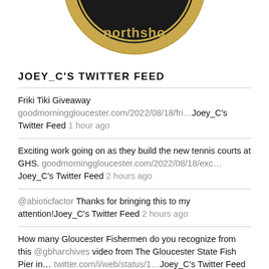[Figure (logo): Partial view of a circular gold and black badge/seal with text 'northsho' visible, cropped at top of page]
JOEY_C'S TWITTER FEED
Friki Tiki Giveaway goodmorninggloucester.com/2022/08/18/fri… Joey_C's Twitter Feed 1 hour ago
Exciting work going on as they build the new tennis courts at GHS. goodmorninggloucester.com/2022/08/18/exc… Joey_C's Twitter Feed 2 hours ago
@abioticfactor Thanks for bringing this to my attention!Joey_C's Twitter Feed 2 hours ago
How many Gloucester Fishermen do you recognize from this @gbharchives video from The Gloucester State Fish Pier in… twitter.com/i/web/status/1… Joey_C's Twitter Feed